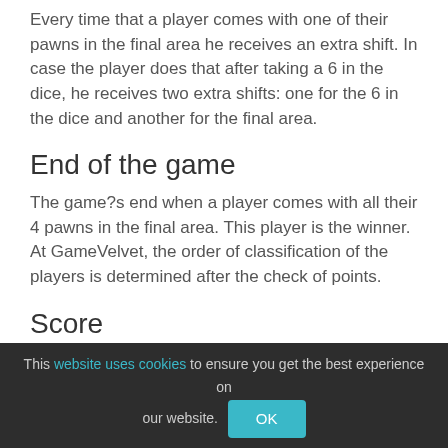Every time that a player comes with one of their pawns in the final area he receives an extra shift. In case the player does that after taking a 6 in the dice, he receives two extra shifts: one for the 6 in the dice and another for the final area.
End of the game
The game?s end when a player comes with all their 4 pawns in the final area. This player is the winner. At GameVelvet, the order of classification of the players is determined after the check of points.
Score
The score of each player is calculated based on how far they are from the initial area their pawns are at the end of the game. Each pawn that came in the final place costs 250 points, and the rest of them cost as points as their distance
This website uses cookies to ensure you get the best experience on our website.